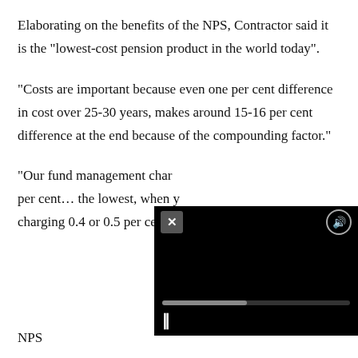Elaborating on the benefits of the NPS, Contractor said it is the "lowest-cost pension product in the world today".
"Costs are important because even one per cent difference in cost over 25-30 years, makes around 15-16 per cent difference at the end because of the compounding factor."
"Our fund management char... per cent... the lowest, when y... charging 0.4 or 0.5 per cent,"
[Figure (other): Video player overlay with close (X) button, volume/speaker button, progress bar, and pause (II) control button on a black background.]
NPS... with the "best in the industry"